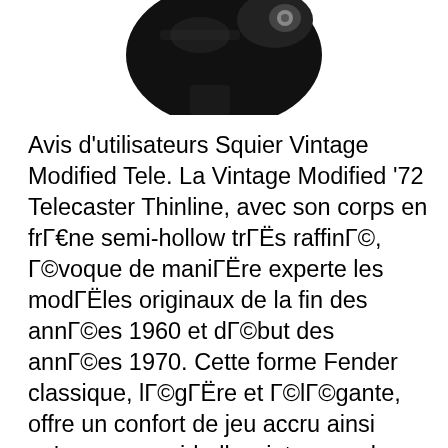[Figure (photo): Partial view of a black Squier Vintage Modified Telecaster guitar body, showing the upper portion with hardware, on a white background.]
Avis d'utilisateurs Squier Vintage Modified Tele. La Vintage Modified '72 Telecaster Thinline, avec son corps en frΓ€ne semi-hollow trΓËs raffinΓ©, Γ©voque de maniΓËre experte les modΓËles originaux de la fin des annΓ©es 1960 et dΓ©but des annΓ©es 1970. Cette forme Fender classique, lΓ©gΓËre et Γ©lΓ©gante, offre un confort de jeu accru ainsi qu'un son semi-hollow intemporel., 03/09/2011В В· The Squier Vintage Modified Telecaster SSH version is one of the company's more recent offerings to be released to the general public, i